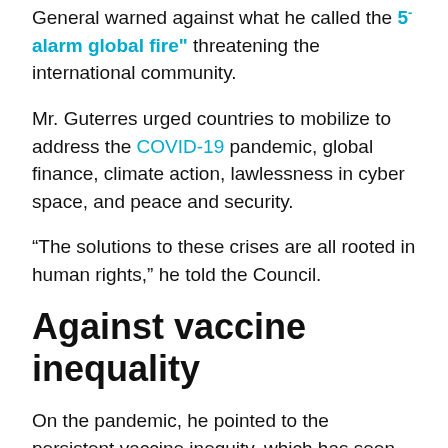General warned against what he called the "5-alarm global fire" threatening the international community.
Mr. Guterres urged countries to mobilize to address the COVID-19 pandemic, global finance, climate action, lawlessness in cyber space, and peace and security.
“The solutions to these crises are all rooted in human rights,” he told the Council.
Against vaccine inequality
On the pandemic, he pointed to the persistent vaccine inequity, which has seen richer countries